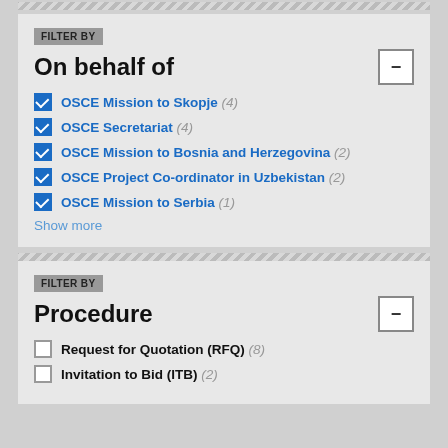FILTER BY
On behalf of
OSCE Mission to Skopje (4)
OSCE Secretariat (4)
OSCE Mission to Bosnia and Herzegovina (2)
OSCE Project Co-ordinator in Uzbekistan (2)
OSCE Mission to Serbia (1)
Show more
FILTER BY
Procedure
Request for Quotation (RFQ) (8)
Invitation to Bid (ITB) (2)